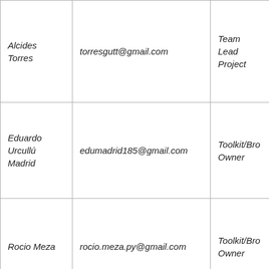| Alcides Torres | torresgutt@gmail.com | Team Lead Project |
| Eduardo Urcullú Madrid | edumadrid185@gmail.com | Toolkit/Brow Owner |
| Rocio Meza | rocio.meza.py@gmail.com | Toolkit/Brow Owner |
| Lourdes | lourdeslocastillos@gmail.com | Community |